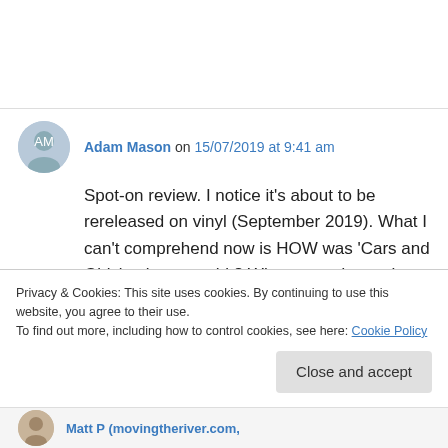Adam Mason on 15/07/2019 at 9:41 am
Spot-on review. I notice it’s about to be rereleased on vinyl (September 2019). What I can’t comprehend now is HOW was ‘Cars and Girls’ only a near hit? What more do you have to do?!
Privacy & Cookies: This site uses cookies. By continuing to use this website, you agree to their use.
To find out more, including how to control cookies, see here: Cookie Policy
Close and accept
Matt P (movingtheriver.com,